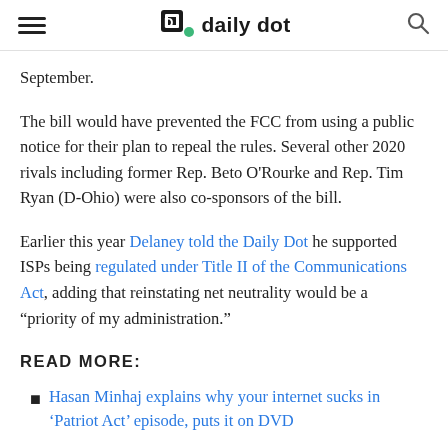daily dot
September.
The bill would have prevented the FCC from using a public notice for their plan to repeal the rules. Several other 2020 rivals including former Rep. Beto O'Rourke and Rep. Tim Ryan (D-Ohio) were also co-sponsors of the bill.
Earlier this year Delaney told the Daily Dot he supported ISPs being regulated under Title II of the Communications Act, adding that reinstating net neutrality would be a “priority of my administration.”
READ MORE:
Hasan Minhaj explains why your internet sucks in ‘Patriot Act’ episode, puts it on DVD